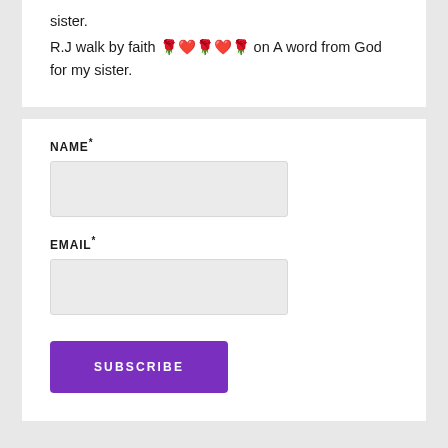sister.
R.J walk by faith 🌹❤️🌹❤️🌹 on A word from God for my sister.
NAME*
EMAIL*
SUBSCRIBE